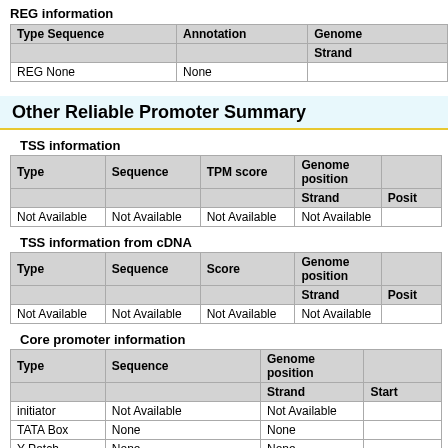REG information
| Type Sequence | Annotation | Genome
Strand |
| --- | --- | --- |
| REG None | None |  |
Other Reliable Promoter Summary
TSS information
| Type | Sequence | TPM score | Genome position
Strand	Posit |
| --- | --- | --- | --- |
| Not Available | Not Available | Not Available | Not Available |
TSS information from cDNA
| Type | Sequence | Score | Genome position
Strand	Posit |
| --- | --- | --- | --- |
| Not Available | Not Available | Not Available | Not Available |
Core promoter information
| Type | Sequence | Genome position
Strand	Start |
| --- | --- | --- |
| initiator | Not Available | Not Available |
| TATA Box | None | None |
| Y Patch | None | None |